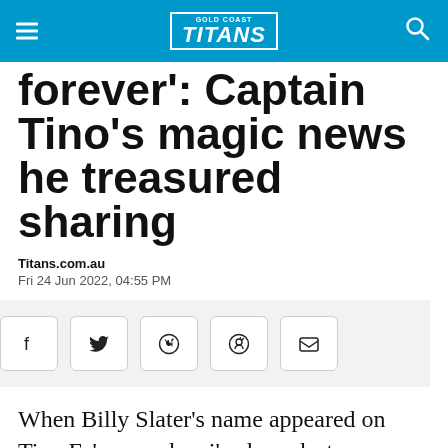Gold Coast Titans
forever': Captain Tino's magic news he treasured sharing
Titans.com.au
Fri 24 Jun 2022, 04:55 PM
Share buttons: Facebook, Twitter, WhatsApp, Reddit, Email
When Billy Slater's name appeared on Tino Fa'asuamaleaui's phone last